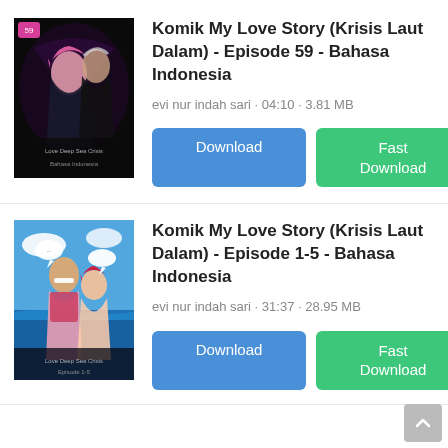[Figure (illustration): Manga/comic book cover thumbnail for Episode 59, dark background with anime characters]
Komik My Love Story (Krisis Laut Dalam) - Episode 59 - Bahasa Indonesia
evi nur indah sari · 04:10 · 3.81 MB
[Figure (illustration): Manga/comic book cover thumbnail for Episode 1-5, colorful beach/outdoor scene with anime characters]
Komik My Love Story (Krisis Laut Dalam) - Episode 1-5 - Bahasa Indonesia
evi nur indah sari · 31:37 · 28.95 MB